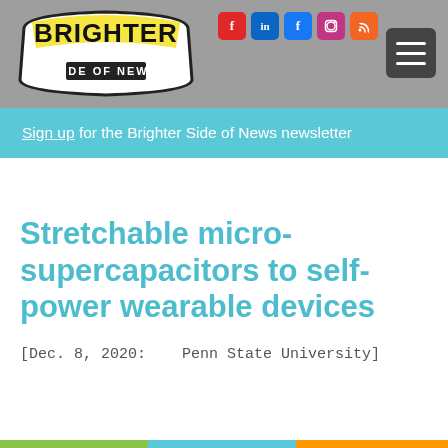Brighter Side of News — navigation header with logo and social icons
Sign up for the Brighter Side of News newsletter
Stretchable micro-supercapacitors to self-power wearable devices
[Dec. 8, 2020:   Penn State University]